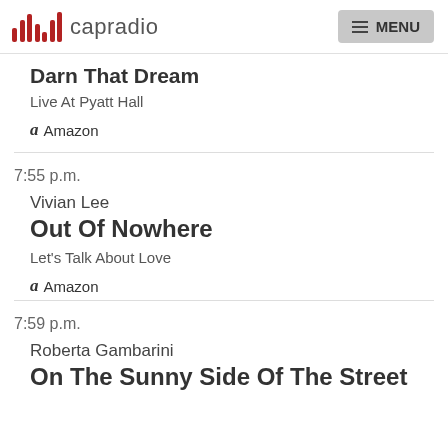capradio MENU
Darn That Dream
Live At Pyatt Hall
Amazon
7:55 p.m.
Vivian Lee
Out Of Nowhere
Let's Talk About Love
Amazon
7:59 p.m.
Roberta Gambarini
On The Sunny Side Of The Street